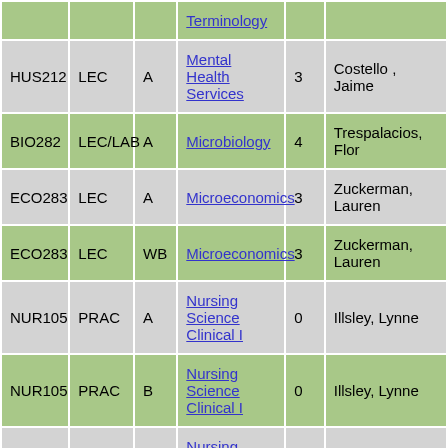| Course | Type | Section | Title | Credits | Instructor |
| --- | --- | --- | --- | --- | --- |
|  |  |  | Terminology |  |  |
| HUS212 | LEC | A | Mental Health Services | 3 | Costello , Jaime |
| BIO282 | LEC/LAB | A | Microbiology | 4 | Trespalacios, Flor |
| ECO283 | LEC | A | Microeconomics | 3 | Zuckerman, Lauren |
| ECO283 | LEC | WB | Microeconomics | 3 | Zuckerman, Lauren |
| NUR105 | PRAC | A | Nursing Science Clinical I | 0 | Illsley, Lynne |
| NUR105 | PRAC | B | Nursing Science Clinical I | 0 | Illsley, Lynne |
| NUR105 | PRAC | C | Nursing Science Clinical I | 0 | Illsley, Lynne |
| NUR105 | LEC | A | Nursing Science I | 7 | Illsley, Lynne |